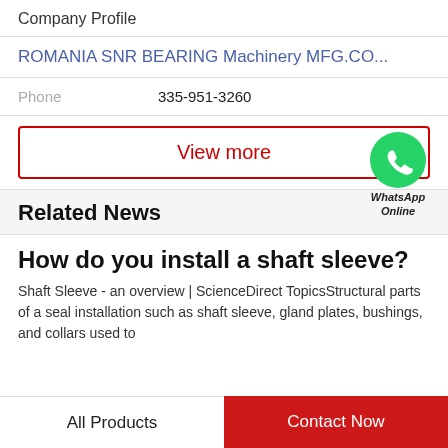Company Profile
ROMANIA SNR BEARING Machinery MFG.CO...
Phone   335-951-3260
View more
[Figure (logo): WhatsApp green circle icon with phone handset, labeled WhatsApp Online]
Related News
How do you install a shaft sleeve?
Shaft Sleeve - an overview | ScienceDirect TopicsStructural parts of a seal installation such as shaft sleeve, gland plates, bushings, and collars used to
All Products   Contact Now